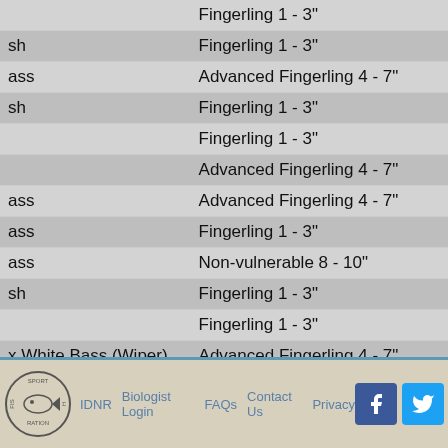| Species (partial) | Size Class |
| --- | --- |
|  | Fingerling 1 - 3" |
| ...sh | Fingerling 1 - 3" |
| ...ass | Advanced Fingerling 4 - 7" |
| ...sh | Fingerling 1 - 3" |
|  | Fingerling 1 - 3" |
|  | Advanced Fingerling 4 - 7" |
| ...ass | Advanced Fingerling 4 - 7" |
| ...ass | Fingerling 1 - 3" |
| ...ass | Non-vulnerable 8 - 10" |
| ...sh | Fingerling 1 - 3" |
|  | Fingerling 1 - 3" |
| ...x White Bass (Wiper) | Advanced Fingerling 4 - 7" |
| ...x White Bass (Wiper) | Fingerling 1 - 3" |
| ...e | Fingerling 1 - 3" |
| ...ass | Advanced Fingerling 4 - 7" |
| ...ass | Fingerling 1 - 3" |
|  | Fingerling 1 - 3" |
| ...x White Bass (Wiper) | Fry |
IDNR  Biologist Login  FAQs  Contact Us  Privacy